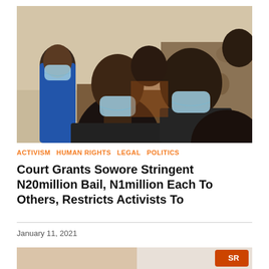[Figure (photo): Several young Black men seated indoors, wearing blue surgical face masks, in a casual setting with patterned fabric visible in the background.]
ACTIVISM  HUMAN RIGHTS  LEGAL  POLITICS
Court Grants Sowore Stringent N20million Bail, N1million Each To Others, Restricts Activists To
January 11, 2021
[Figure (photo): Partial bottom image — appears to show hands and an orange/red graphic element with 'SR' logo badge.]